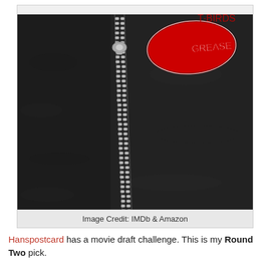[Figure (photo): Close-up photograph of a black leather jacket with a silver zipper running diagonally, and a red and white embroidered 'GREASE' logo patch on the upper right chest area.]
Image Credit: IMDb & Amazon
Hanspostcard has a movie draft challenge. This is my Round Two pick.